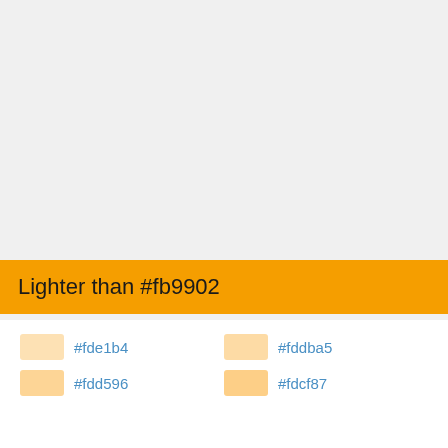Lighter than #fb9902
#fde1b4
#fddba5
#fdd596
#fdcf87